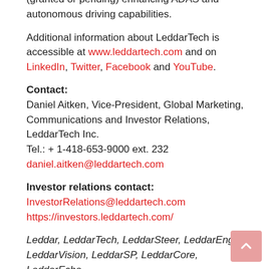automotive and mobility remote sensing applications, with over 120 patented technologies (granted or pending) enhancing ADAS and autonomous driving capabilities.
Additional information about LeddarTech is accessible at www.leddartech.com and on LinkedIn, Twitter, Facebook and YouTube.
Contact:
Daniel Aitken, Vice-President, Global Marketing, Communications and Investor Relations, LeddarTech Inc.
Tel.: + 1-418-653-9000 ext. 232
daniel.aitken@leddartech.com
Investor relations contact:
InvestorRelations@leddartech.com
https://investors.leddartech.com/
Leddar, LeddarTech, LeddarSteer, LeddarEngine, LeddarVision, LeddarSP, LeddarCore, LeddarEcho,